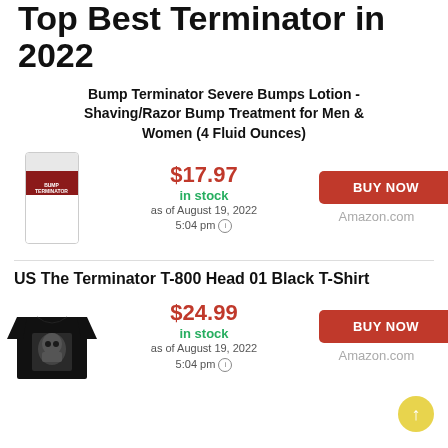Top Best Terminator in 2022
Bump Terminator Severe Bumps Lotion - Shaving/Razor Bump Treatment for Men & Women (4 Fluid Ounces)
$17.97 in stock as of August 19, 2022 5:04 pm
BUY NOW Amazon.com
US The Terminator T-800 Head 01 Black T-Shirt
$24.99 in stock as of August 19, 2022 5:04 pm
BUY NOW Amazon.com